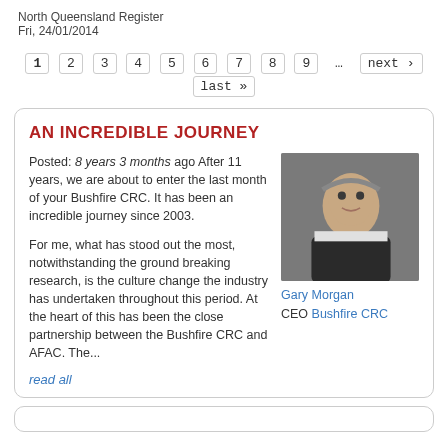North Queensland Register
Fri, 24/01/2014
1 2 3 4 5 6 7 8 9 … next › last »
AN INCREDIBLE JOURNEY
Posted: 8 years 3 months ago After 11 years, we are about to enter the last month of your Bushfire CRC. It has been an incredible journey since 2003.

For me, what has stood out the most, notwithstanding the ground breaking research, is the culture change the industry has undertaken throughout this period. At the heart of this has been the close partnership between the Bushfire CRC and AFAC. The...
[Figure (photo): Portrait photo of Gary Morgan, CEO of Bushfire CRC, a middle-aged man in a dark suit against a grey background]
Gary Morgan
CEO Bushfire CRC
read all